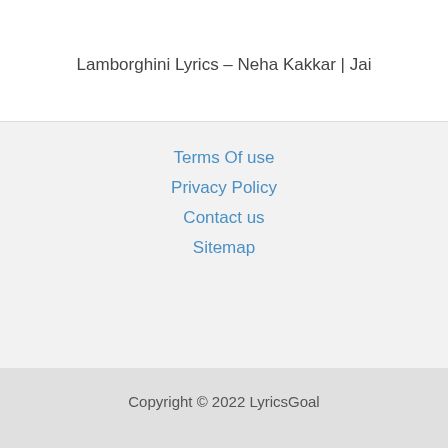Lamborghini Lyrics – Neha Kakkar | Jai
Terms Of use
Privacy Policy
Contact us
Sitemap
Copyright © 2022 LyricsGoal